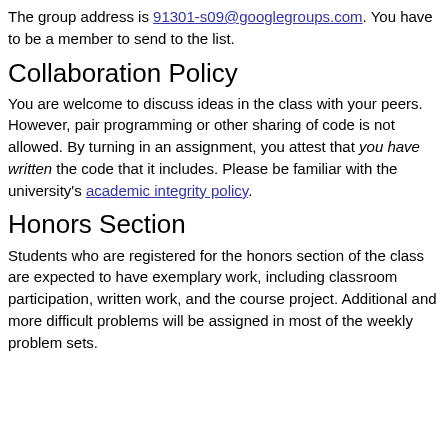The group address is 91301-s09@googlegroups.com. You have to be a member to send to the list.
Collaboration Policy
You are welcome to discuss ideas in the class with your peers. However, pair programming or other sharing of code is not allowed. By turning in an assignment, you attest that you have written the code that it includes. Please be familiar with the university's academic integrity policy.
Honors Section
Students who are registered for the honors section of the class are expected to have exemplary work, including classroom participation, written work, and the course project. Additional and more difficult problems will be assigned in most of the weekly problem sets.